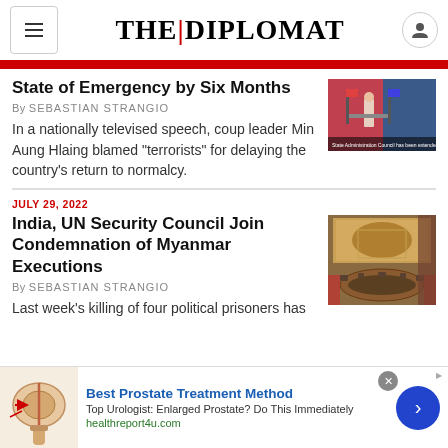THE|DIPLOMAT
State of Emergency by Six Months
By SEBASTIAN STRANGIO
In a nationally televised speech, coup leader Min Aung Hlaing blamed "terrorists" for delaying the country's return to normalcy.
JULY 29, 2022
India, UN Security Council Join Condemnation of Myanmar Executions
By SEBASTIAN STRANGIO
Last week's killing of four political prisoners has
[Figure (photo): Photo related to State of Emergency article - person at podium with flags]
[Figure (photo): Photo of UN Security Council chamber]
[Figure (photo): Advertisement medical illustration of prostate]
Best Prostate Treatment Method
Top Urologist: Enlarged Prostate? Do This Immediately
healthreport4u.com